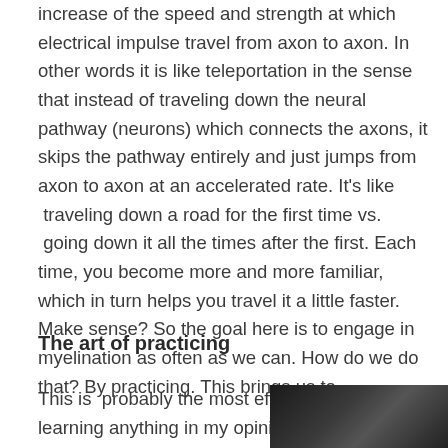increase of the speed and strength at which electrical impulse travel from axon to axon. In other words it is like teleportation in the sense that instead of traveling down the neural pathway (neurons) which connects the axons, it skips the pathway entirely and just jumps from axon to axon at an accelerated rate. It's like  traveling down a road for the first time vs.  going down it all the times after the first. Each time, you become more and more familiar, which in turn helps you travel it a little faster. Make sense? So the goal here is to engage in myelination as often as we can. How do we do that? By practicing. This brings us to…….
The art of practicing
This is  probably the most effective way of learning anything in my opinion. You
[Figure (photo): Dark photo, partially visible at bottom right of page]